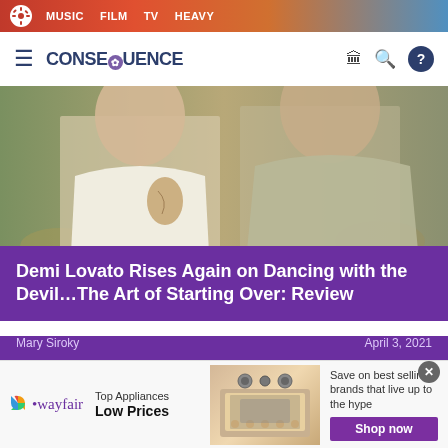MUSIC  FILM  TV  HEAVY
CONSEQUENCE
[Figure (photo): Cropped photo of two people outdoors wearing white and olive tops, rocky desert landscape background]
Demi Lovato Rises Again on Dancing with the Devil…The Art of Starting Over: Review
Mary Siroky    April 3, 2021
News
[Figure (other): Wayfair advertisement: Top Appliances Low Prices, Save on best selling brands that live up to the hype, Shop now button]